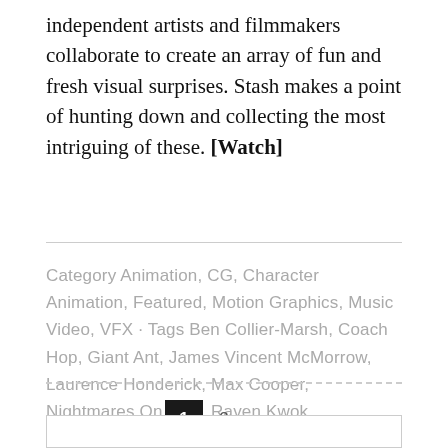independent artists and filmmakers collaborate to create an array of fun and fresh visual surprises. Stash makes a point of hunting down and collecting the most intriguing of these. [Watch]
Category Animation, CG, Character Animation, Featured, Motion Graphics, Music Video, VFX · Tags Ben Collier-Marsh, Coach Hop, Giant Ant, James Vincent McMorrow, Laurence Honderick, Max Cooper, Nightmares On Wax, Raven Kwok, RUFFMERCY, Sami Fitz, The Dink, The Mill, The Weeknd